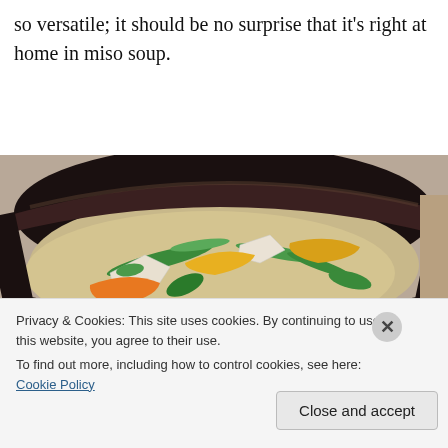so versatile; it should be no surprise that it's right at home in miso soup.
[Figure (photo): A dark ceramic bowl containing miso soup with tofu cubes, green onions, and yellow and orange vegetables floating in a pale broth.]
Privacy & Cookies: This site uses cookies. By continuing to use this website, you agree to their use.
To find out more, including how to control cookies, see here: Cookie Policy
Close and accept